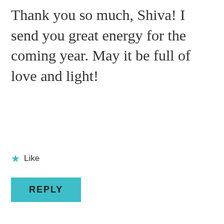Thank you so much, Shiva! I send you great energy for the coming year. May it be full of love and light!
★ Like
REPLY
[Figure (photo): Circular avatar photo of Shiva Malekopmath, a man in a red shirt]
SHIVA MALEKOPMATH
December 31, 2017 at 9:53 am
Oooh Lorrie thanks so much!